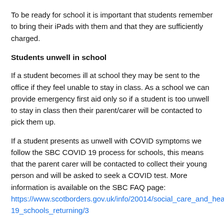To be ready for school it is important that students remember to bring their iPads with them and that they are sufficiently charged.
Students unwell in school
If a student becomes ill at school they may be sent to the office if they feel unable to stay in class. As a school we can provide emergency first aid only so if a student is too unwell to stay in class then their parent/carer will be contacted to pick them up.
If a student presents as unwell with COVID symptoms we follow the SBC COVID 19 process for schools, this means that the parent carer will be contacted to collect their young person and will be asked to seek a COVID test. More information is available on the SBC FAQ page: https://www.scotborders.gov.uk/info/20014/social_care_and_health/19_schools_returning/3